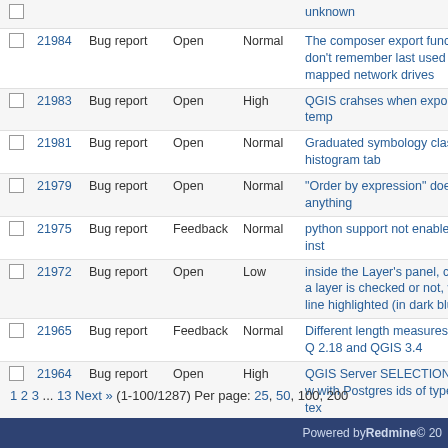|  | # | Tracker | Status | Priority | Subject |
| --- | --- | --- | --- | --- | --- |
|  |  |  |  |  | unknown |
|  | 21984 | Bug report | Open | Normal | The composer export functions don't remember last used path on mapped network drives |
|  | 21983 | Bug report | Open | High | QGIS crahses when exporting a temp |
|  | 21981 | Bug report | Open | Normal | Graduated symbology classes in histogram tab |
|  | 21979 | Bug report | Open | Normal | "Order by expression" doesn't order anything |
|  | 21975 | Bug report | Feedback | Normal | python support not enabled after inst |
|  | 21972 | Bug report | Open | Low | inside the Layer's panel, can't see if a layer is checked or not, when its line highlighted (in dark blue) |
|  | 21965 | Bug report | Feedback | Normal | Different length measures between Q 2.18 and QGIS 3.4 |
|  | 21964 | Bug report | Open | High | QGIS Server SELECTION doesn't w with Postgres ids of type bigint or tex |
|  | 21962 | Bug report | Feedback | Normal | JPG with Worldfiles shows black bounding box |
|  | 21961 | Bug report | Feedback | Normal | Layer Panel display for point data lay unusable. |
|  | 21960 | Bug report | Feedback | High | report details |
|  | 21957 | Bug report | Feedback | Normal | Georeferencer plugin does not work |
1 2 3 ... 13 Next » (1-100/1287) Per page: 25, 50, 100, 200
Powered by Redmine © 20